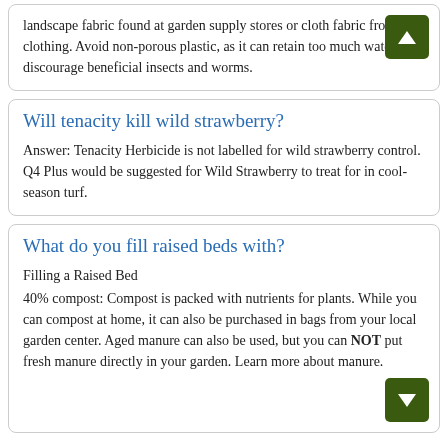landscape fabric found at garden supply stores or cloth fabric from clothing. Avoid non-porous plastic, as it can retain too much water and discourage beneficial insects and worms.
Will tenacity kill wild strawberry?
Answer: Tenacity Herbicide is not labelled for wild strawberry control. Q4 Plus would be suggested for Wild Strawberry to treat for in cool-season turf.
What do you fill raised beds with?
Filling a Raised Bed
40% compost: Compost is packed with nutrients for plants. While you can compost at home, it can also be purchased in bags from your local garden center. Aged manure can also be used, but you can NOT put fresh manure directly in your garden. Learn more about manure.